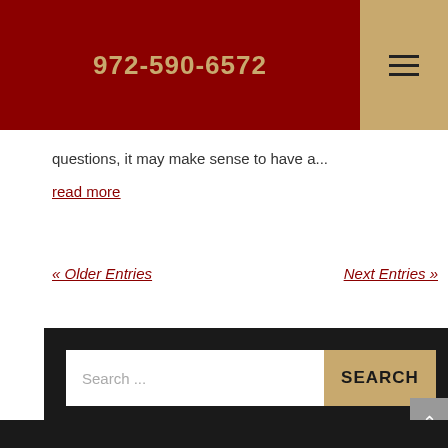972-590-6572
questions, it may make sense to have a...
read more
« Older Entries
Next Entries »
Search ...
Categories
Blog
Child Custody